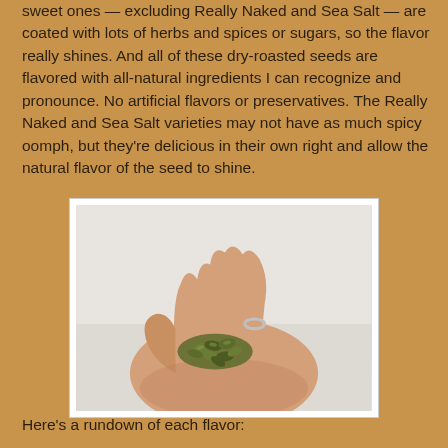sweet ones — excluding Really Naked and Sea Salt — are coated with lots of herbs and spices or sugars, so the flavor really shines. And all of these dry-roasted seeds are flavored with all-natural ingredients I can recognize and pronounce. No artificial flavors or preservatives. The Really Naked and Sea Salt varieties may not have as much spicy oomph, but they're delicious in their own right and allow the natural flavor of the seed to shine.
[Figure (photo): A hand with a silver ring on the ring finger holding a small pile of green pumpkin seeds in the palm, photographed against a white/light gray background.]
Here's a rundown of each flavor: